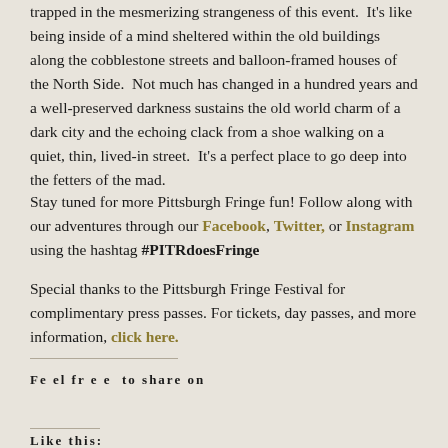trapped in the mesmerizing strangeness of this event.  It's like being inside of a mind sheltered within the old buildings along the cobblestone streets and balloon-framed houses of the North Side.  Not much has changed in a hundred years and a well-preserved darkness sustains the old world charm of a dark city and the echoing clack from a shoe walking on a quiet, thin, lived-in street.  It's a perfect place to go deep into the fetters of the mad.
Stay tuned for more Pittsburgh Fringe fun! Follow along with our adventures through our Facebook, Twitter, or Instagram using the hashtag #PITRdoesFringe
Special thanks to the Pittsburgh Fringe Festival for complimentary press passes. For tickets, day passes, and more information, click here.
Feel free to share on
Like this: